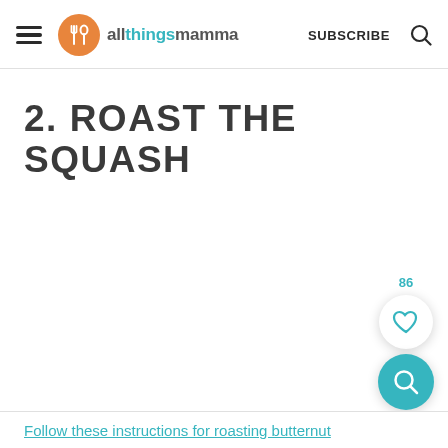allthingsmamma | SUBSCRIBE
2. ROAST THE SQUASH
[Figure (infographic): Heart/like button widget with count 86, and a teal search button]
Follow these instructions for roasting butternut